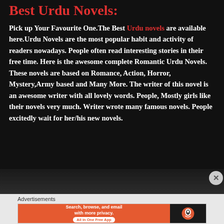Best Urdu Novels:
Pick up Your Favourite One.The Best Urdu novels are available here.Urdu Novels are the most popular habit and activity of readers nowadays. People often read interesting stories in their free time. Here is the awesome complete Romantic Urdu Novels. These novels are based on Romance, Action, Horror, Mystery,Army based and Many More. The writer of this novel is an awesome writer with all lovely words. People, Mostly girls like their novels very much. Writer wrote many famous novels. People excitedly wait for her/his new novels.
[Figure (screenshot): DuckDuckGo advertisement banner with orange background on the left showing 'Search, browse, and email with more privacy. All in One Free App' and DuckDuckGo logo on black background on the right]
Advertisements